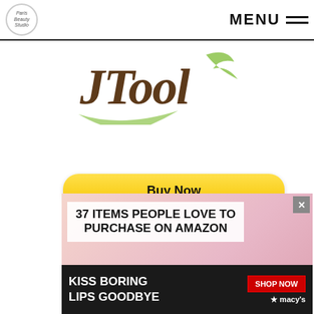MENU
[Figure (logo): JTool script logo in brown and green cursive text]
[Figure (screenshot): PayPal Buy Now button with payment card icons (VISA, Mastercard, PayPal, American Express, Discover, Maestro)]
[Figure (screenshot): Advertisement banner: '37 ITEMS PEOPLE LOVE TO PURCHASE ON AMAZON' with Macy's lip product ad 'KISS BORING LIPS GOODBYE' with SHOP NOW button and close button]